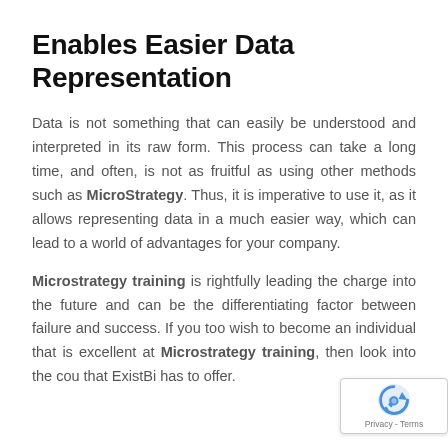Enables Easier Data Representation
Data is not something that can easily be understood and interpreted in its raw form. This process can take a long time, and often, is not as fruitful as using other methods such as MicroStrategy. Thus, it is imperative to use it, as it allows representing data in a much easier way, which can lead to a world of advantages for your company.
Microstrategy training is rightfully leading the charge into the future and can be the differentiating factor between failure and success. If you too wish to become an individual that is excellent at Microstrategy training, then look into the cou that ExistBi has to offer.